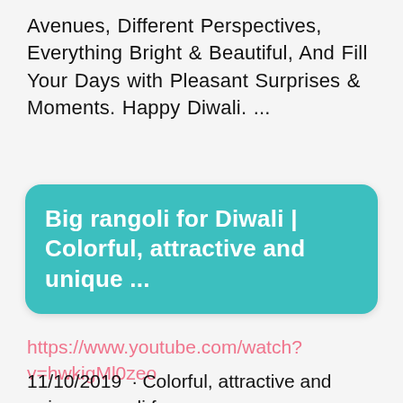Avenues, Different Perspectives, Everything Bright & Beautiful, And Fill Your Days with Pleasant Surprises & Moments. Happy Diwali. ...
Big rangoli for Diwali | Colorful, attractive and unique ...
https://www.youtube.com/watch?v=hwkigMl0zeo
11/10/2019 · Colorful, attractive and unique rangoli for diwali.#diwalispecial#colorful#rangoli#sandart#mandala#kolam#relaxing